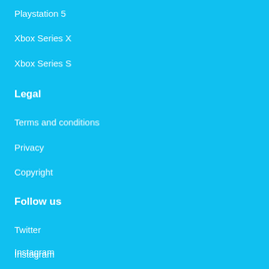Playstation 5
Xbox Series X
Xbox Series S
Legal
Terms and conditions
Privacy
Copyright
Follow us
Twitter
Instagram
Facebook
Install app